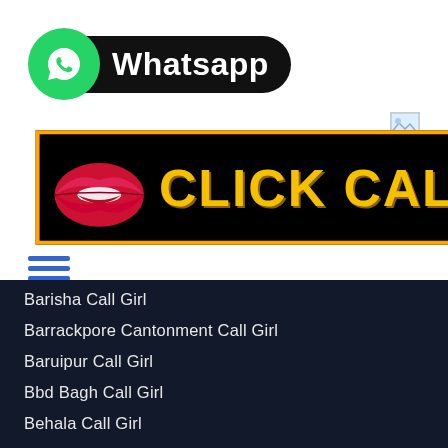[Figure (logo): WhatsApp logo badge with green circle icon and black pill label reading 'Whatsapp']
[Figure (infographic): Black banner with red lips icon and yellow bold text 'CLICK CALL', bordered with orange outline]
[Figure (other): Broken/placeholder image icon, small square]
[Figure (other): Blue hamburger menu icon with three horizontal lines]
Barisha Call Girl
Barrackpore Cantonment Call Girl
Baruipur Call Girl
Bbd Bagh Call Girl
Behala Call Girl
Beralia Call Girl